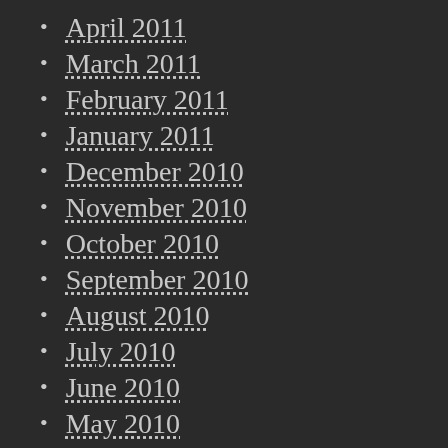April 2011
March 2011
February 2011
January 2011
December 2010
November 2010
October 2010
September 2010
August 2010
July 2010
June 2010
May 2010
April 2010
March 2010